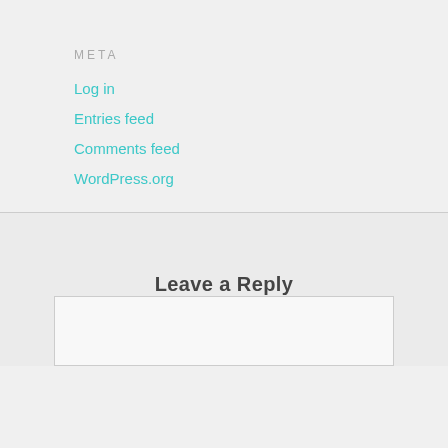META
Log in
Entries feed
Comments feed
WordPress.org
Leave a Reply